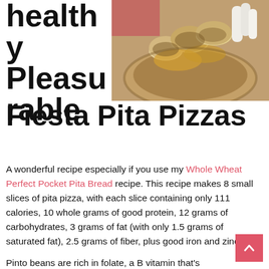healthy Pleasurable Fiesta Pita Pizzas
[Figure (photo): Close-up photo of pita pizza topped with mushrooms and melted cheese on a plate]
A wonderful recipe especially if you use my Whole Wheat Perfect Pocket Pita Bread recipe. This recipe makes 8 small slices of pita pizza, with each slice containing only 111 calories, 10 whole grams of good protein, 12 grams of carbohydrates, 3 grams of fat (with only 1.5 grams of saturated fat), 2.5 grams of fiber, plus good iron and zinc.
Pinto beans are rich in folate, a B vitamin that's